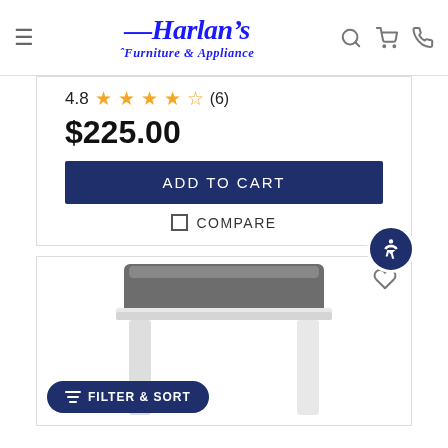Harlan's Furniture & Appliance
4.8 ★★★★☆ (6)
$225.00
ADD TO CART
COMPARE
[Figure (photo): White stool with dark gray upholstered seat cushion]
FILTER & SORT